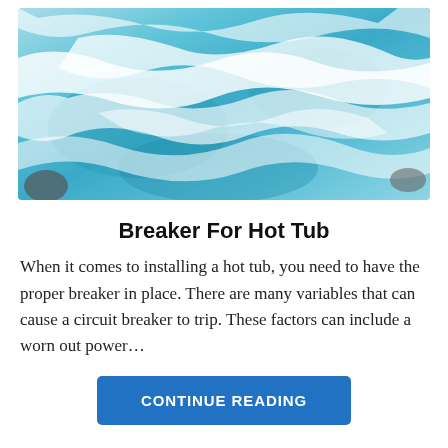[Figure (photo): Aerial close-up photo of a hot tub with churning blue water and white foam/bubbles]
Breaker For Hot Tub
When it comes to installing a hot tub, you need to have the proper breaker in place. There are many variables that can cause a circuit breaker to trip. These factors can include a worn out power…
CONTINUE READING